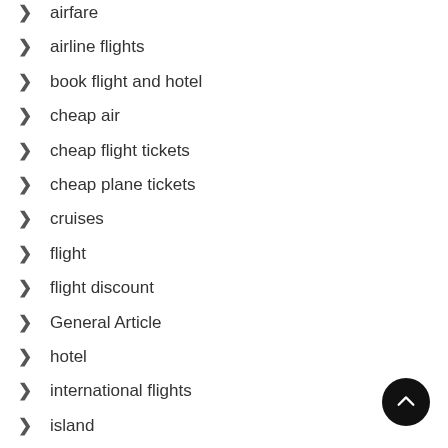airfare
airline flights
book flight and hotel
cheap air
cheap flight tickets
cheap plane tickets
cruises
flight
flight discount
General Article
hotel
international flights
island
mountain